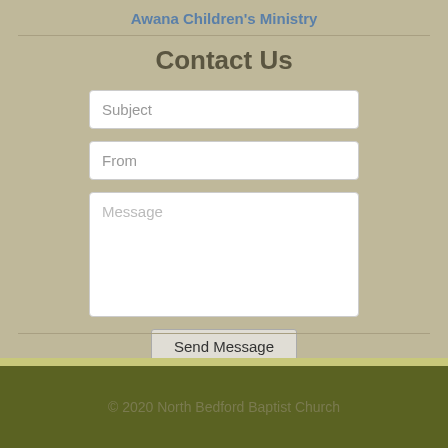Awana Children's Ministry
Contact Us
[Figure (screenshot): Contact form with Subject, From, and Message input fields and a Send Message button]
© 2020 North Bedford Baptist Church